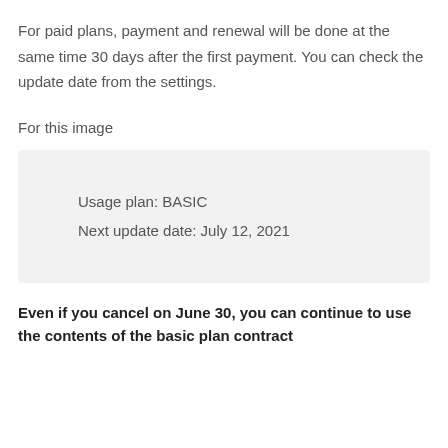For paid plans, payment and renewal will be done at the same time 30 days after the first payment. You can check the update date from the settings.
For this image
[Figure (screenshot): A light grey info box showing: Usage plan: BASIC and Next update date: July 12, 2021]
Even if you cancel on June 30, you can continue to use the contents of the basic plan contract